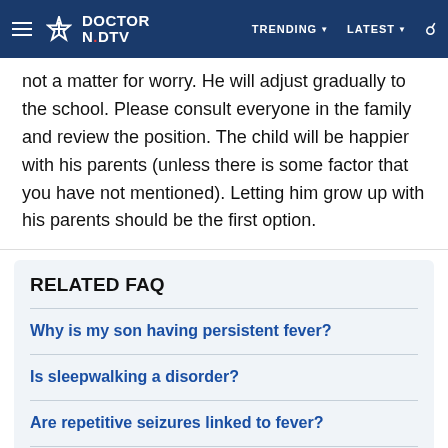DOCTOR NDTV | TRENDING | LATEST
not a matter for worry. He will adjust gradually to the school. Please consult everyone in the family and review the position. The child will be happier with his parents (unless there is some factor that you have not mentioned). Letting him grow up with his parents should be the first option.
RELATED FAQ
Why is my son having persistent fever?
Is sleepwalking a disorder?
Are repetitive seizures linked to fever?
Are our children at risk of hypothyroidism?